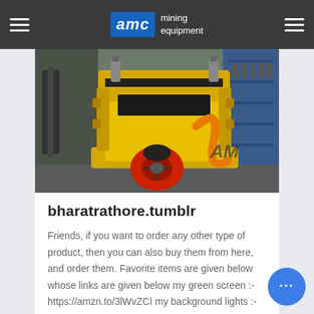AMC mining equipment
[Figure (photo): Yellow mining crusher / cone crusher machine photographed in a factory/warehouse setting with blue shelving in the background. AMC watermark visible. Machine is primarily bright yellow with black and red components at the base.]
bharatrathore.tumblr
Friends, if you want to order any other type of product, then you can also buy them from here, and order them. Favorite items are given below whose links are given below my green screen :- https://amzn.to/3lWvZCI my background lights :-